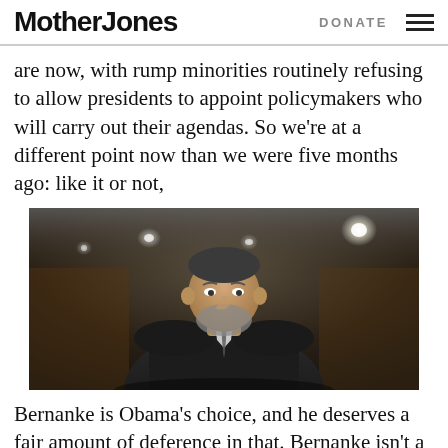Mother Jones  DONATE
are now, with rump minorities routinely refusing to allow presidents to appoint policymakers who will carry out their agendas. So we’re at a different point now than we were five months ago: like it or not,
[Figure (photo): A man in a dark suit, appearing to be Ben Bernanke, seated in a formal hearing room with ceiling lights visible in the background.]
Bernanke is Obama’s choice, and he deserves a fair amount of deference in that. Bernanke isn’t a fit for